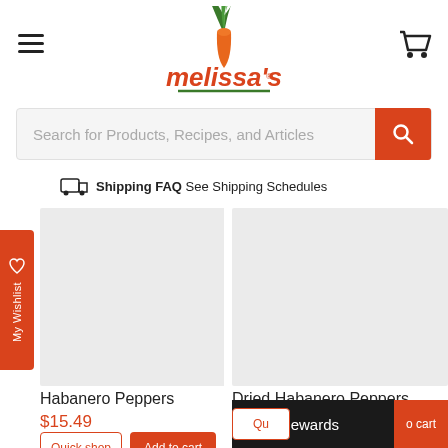[Figure (logo): Melissa's brand logo with carrot illustration and red script text]
Search for Products, Recipes, and Articles
Shipping FAQ See Shipping Schedules
My Wishlist
[Figure (photo): Habanero Peppers product image placeholder]
Habanero Peppers
$15.49
Quick shop
Add to cart
[Figure (photo): Dried Habanero Peppers product image placeholder]
Dried Habanero Peppers
$10.80
Earn Rewards
o cart